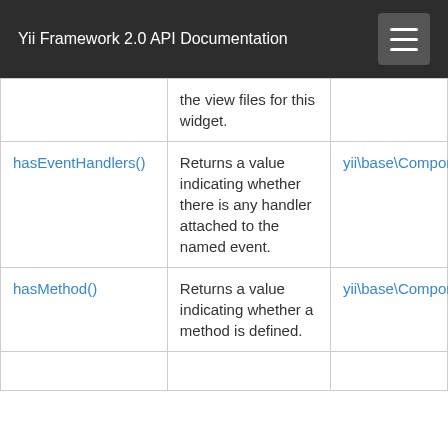Yii Framework 2.0 API Documentation
|  | the view files for this widget. |  |
| hasEventHandlers() | Returns a value indicating whether there is any handler attached to the named event. | yii\base\Component |
| hasMethod() | Returns a value indicating whether a method is defined. | yii\base\Component |